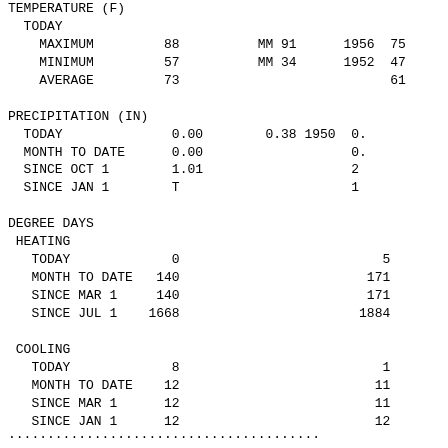| TEMPERATURE (F) |  |  |  |  |  |
|   TODAY |  |  |  |  |  |
|     MAXIMUM | 88 | MM 91 | 1956 | 75 |  |
|     MINIMUM | 57 | MM 34 | 1952 | 47 |  |
|     AVERAGE | 73 |  |  | 61 |  |
|  |  |  |  |  |  |
| PRECIPITATION (IN) |  |  |  |  |  |
|   TODAY | 0.00 | 0.38 1950 | 0. |  |  |
|   MONTH TO DATE | 0.00 |  | 0. |  |  |
|   SINCE OCT 1 | 1.01 |  | 2 |  |  |
|   SINCE JAN 1 | T |  | 1 |  |  |
|  |  |  |  |  |  |
| DEGREE DAYS |  |  |  |  |  |
|  HEATING |  |  |  |  |  |
|    TODAY | 0 |  | 5 |  |  |
|    MONTH TO DATE | 140 |  | 171 |  |  |
|    SINCE MAR 1 | 140 |  | 171 |  |  |
|    SINCE JUL 1 | 1668 |  | 1884 |  |  |
|  |  |  |  |  |  |
|  COOLING |  |  |  |  |  |
|    TODAY | 8 |  | 1 |  |  |
|    MONTH TO DATE | 12 |  | 11 |  |  |
|    SINCE MAR 1 | 12 |  | 11 |  |  |
|    SINCE JAN 1 | 12 |  | 12 |  |  |
....................................